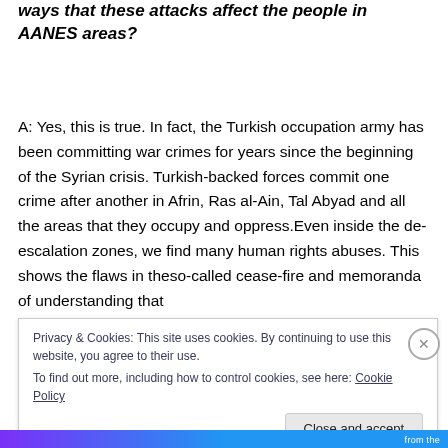ways that these attacks affect the people in AANES areas?
A: Yes, this is true. In fact, the Turkish occupation army has been committing war crimes for years since the beginning of the Syrian crisis. Turkish-backed forces commit one crime after another in Afrin, Ras al-Ain, Tal Abyad and all the areas that they occupy and oppress.Even inside the de-escalation zones, we find many human rights abuses. This shows the flaws in theso-called cease-fire and memoranda of understanding that
Privacy & Cookies: This site uses cookies. By continuing to use this website, you agree to their use.
To find out more, including how to control cookies, see here: Cookie Policy
Close and accept